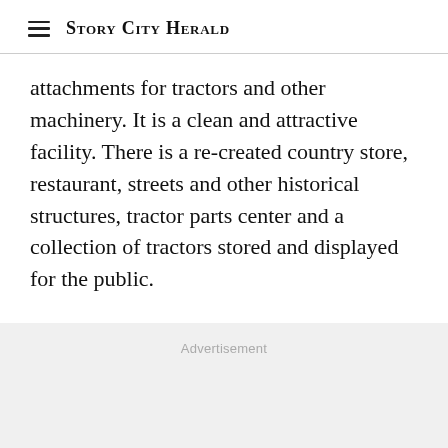Story City Herald
attachments for tractors and other machinery. It is a clean and attractive facility. There is a re-created country store, restaurant, streets and other historical structures, tractor parts center and a collection of tractors stored and displayed for the public.
Advertisement